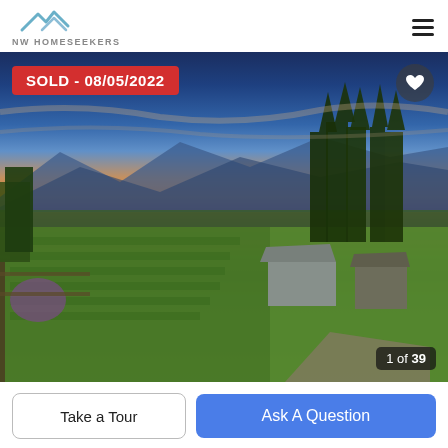NW HOMESEEKERS
[Figure (photo): Aerial drone photograph of a property at sunset showing a blue farmhouse with outbuildings, large green fields, tall conifer trees, and mountain/valley views in the background under a colorful sunset sky. A red 'SOLD - 08/05/2022' badge overlays the top-left corner. A heart button is in the top-right corner. A '1 of 39' image counter appears in the bottom-right corner.]
Take a Tour
Ask A Question